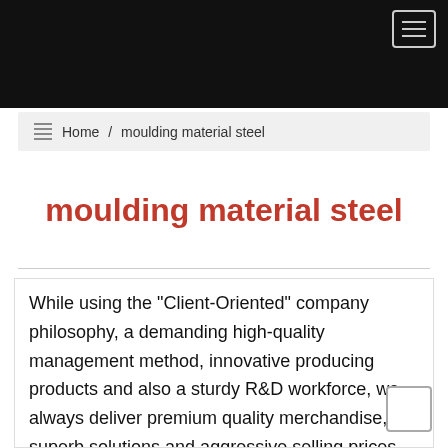Home / moulding material steel
moulding material steel
While using the "Client-Oriented" company philosophy, a demanding high-quality management method, innovative producing products and also a sturdy R&D workforce, we always deliver premium quality merchandise, superb solutions and aggressive selling prices for moulding material steel W